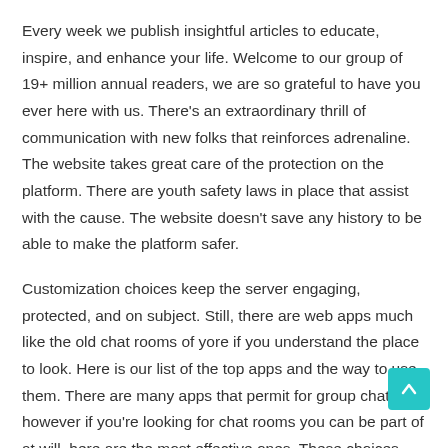Every week we publish insightful articles to educate, inspire, and enhance your life. Welcome to our group of 19+ million annual readers, we are so grateful to have you ever here with us. There's an extraordinary thrill of communication with new folks that reinforces adrenaline. The website takes great care of the protection on the platform. There are youth safety laws in place that assist with the cause. The website doesn't save any history to be able to make the platform safer.
Customization choices keep the server engaging, protected, and on subject. Still, there are web apps much like the old chat rooms of yore if you understand the place to look. Here is our list of the top apps and the way to use them. There are many apps that permit for group chats, however if you're looking for chat rooms you can be part of at will, here are the most effective ones. These choices above are price checking and I am certain you can s some new pals and some real buddies from thesebest chat rooms. These are easy means to connect with anybody from